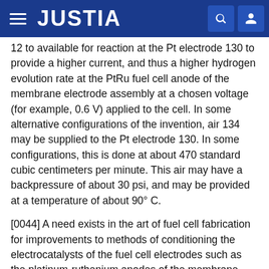JUSTIA
12 to available for reaction at the Pt electrode 130 to provide a higher current, and thus a higher hydrogen evolution rate at the PtRu fuel cell anode of the membrane electrode assembly at a chosen voltage (for example, 0.6 V) applied to the cell. In some alternative configurations of the invention, air 134 may be supplied to the Pt electrode 130. In some configurations, this is done at about 470 standard cubic centimeters per minute. This air may have a backpressure of about 30 psi, and may be provided at a temperature of about 90° C.
[0044] A need exists in the art of fuel cell fabrication for improvements to methods of conditioning the electrocatalysts of the fuel cell electrodes such as the platinum-ruthenium anodes of the membrane electrode assemblies used in direct methanol fuel cells. Currently, these conditioning methods that are considered to be